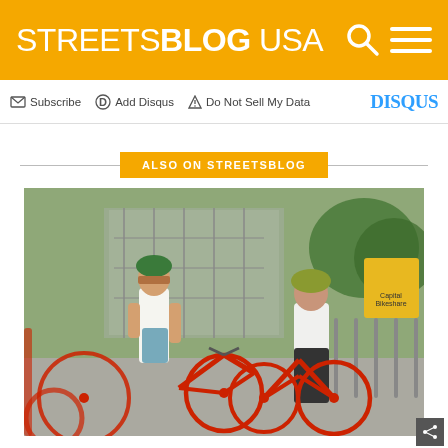STREETSBLOG USA
Subscribe  Add Disqus  Do Not Sell My Data  DISQUS
ALSO ON STREETSBLOG
[Figure (photo): Two cyclists wearing helmets at a Capital Bikeshare bike-share docking station. A woman in a white VT shirt handles a red bike on the left; a man in a white polo shirt sits on a red Capital Bikeshare bicycle on the right. Urban outdoor setting with trees and scaffolding in the background.]